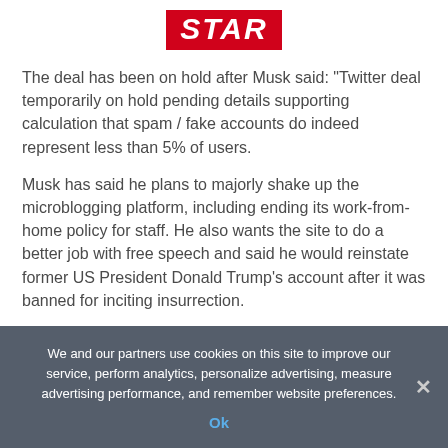[Figure (logo): Star magazine/news logo — white italic text 'STAR' on red background]
The deal has been on hold after Musk said: "Twitter deal temporarily on hold pending details supporting calculation that spam / fake accounts do indeed represent less than 5% of users.
Musk has said he plans to majorly shake up the microblogging platform, including ending its work-from-home policy for staff. He also wants the site to do a better job with free speech and said he would reinstate former US President Donald Trump's account after it was banned for inciting insurrection.
Trump reportedly has said he won't return to Twitter even if given the option.
We and our partners use cookies on this site to improve our service, perform analytics, personalize advertising, measure advertising performance, and remember website preferences.